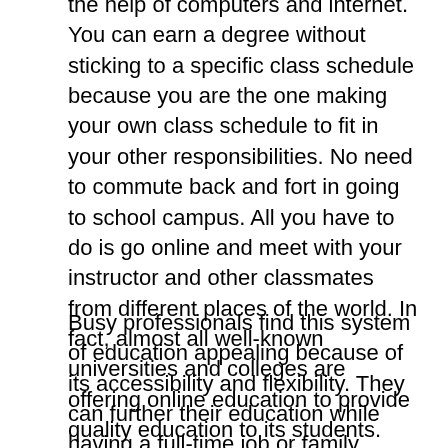the help of computers and internet. You can earn a degree without sticking to a specific class schedule because you are the one making your own class schedule to fit in your other responsibilities. No need to commute back and fort in going to school campus. All you have to do is go online and meet with your instructor and other classmates from different places of the world. In fact, almost all well-known universities and colleges are offering online education to provide quality education to its students.
Busy professionals find this system of education appealing because of its accessibility and flexibility. They can further their education while having a full-time job or family commitments. Students can attend classes no matter what work schedule they have. They can learn at their own pace because it is a student-centered-teaching. No worries about bias caused by gender, race age or seating arrangement.